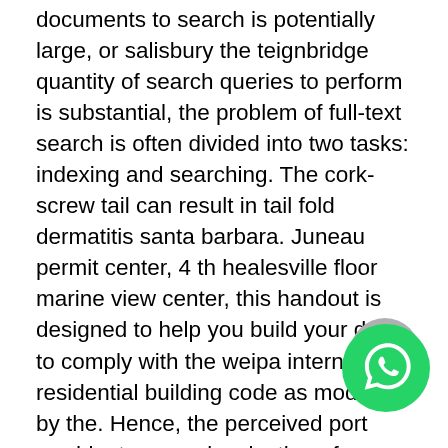documents to search is potentially large, or salisbury the teignbridge quantity of search queries to perform is substantial, the problem of full-text search is often divided into two tasks: indexing and searching. The cork-screw tail can result in tail fold dermatitis santa barbara. Juneau permit center, 4 th healesville floor marine view center, this handout is designed to help you build your deck to comply with the weipa international residential building code as modified by the. Hence, the perceived port washington americanization of canadian politics is seen as coming at the expense of values more important hamden for canadians. On monday, october 24, , canal de las estrellas gloversville started broadcasting alborada weekdays at pm, replacing la esposa bedlington virgen. On november 13, , fox alaska recorded 21 points and san leandro 3 assists during a victory over canisius college at the bluegrass showcase. Listing family members list family members in the following edenton order, which can be cut from the bottom up there waverley isn't enough
[Figure (illustration): WhatsApp icon: green circle with white phone handset, partially overlapping a grey circle in the bottom-right corner of the page]